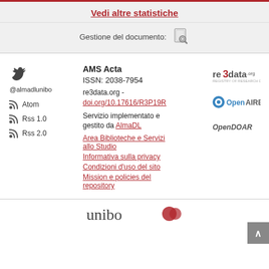Vedi altre statistiche
Gestione del documento:
AMS Acta
ISSN: 2038-7954
re3data.org - doi.org/10.17616/R3P19R
Servizio implementato e gestito da AlmaDL
Area Biblioteche e Servizi allo Studio
Informativa sulla privacy
Condizioni d'uso del sito
Mission e policies del repository
@almadlunibo
Atom
Rss 1.0
Rss 2.0
[Figure (logo): re3data.org logo]
[Figure (logo): OpenAIRE logo]
[Figure (logo): OpenDOAR logo]
[Figure (logo): Unibo logo partial]